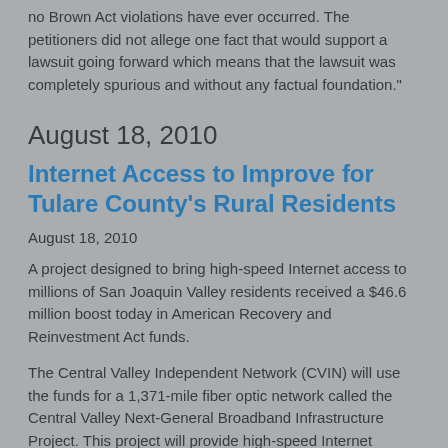no Brown Act violations have ever occurred. The petitioners did not allege one fact that would support a lawsuit going forward which means that the lawsuit was completely spurious and without any factual foundation."
August 18, 2010
Internet Access to Improve for Tulare County's Rural Residents
August 18, 2010
A project designed to bring high-speed Internet access to millions of San Joaquin Valley residents received a $46.6 million boost today in American Recovery and Reinvestment Act funds.
The Central Valley Independent Network (CVIN) will use the funds for a 1,371-mile fiber optic network called the Central Valley Next-General Broadband Infrastructure Project. This project will provide high-speed Internet service through 18 California counties, from Colusa to Kern counties. Tulare County officials began working with CENIC officials on this ARRA proposal in early 2010, drawing together a working group composed of technology leaders from the Tulare County Library,